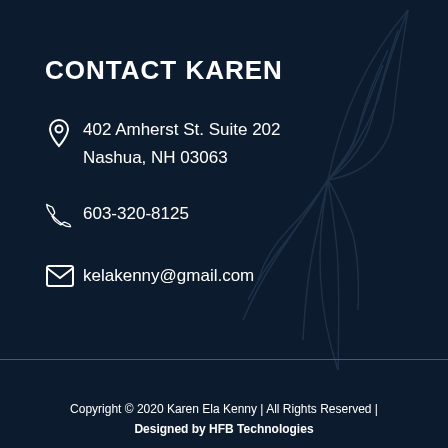CONTACT KAREN
402 Amherst St. Suite 202
Nashua, NH 03063
603-320-8125
kelakenny@gmail.com
Copyright © 2020 Karen Ela Kenny | All Rights Reserved | Designed by HFB Technologies